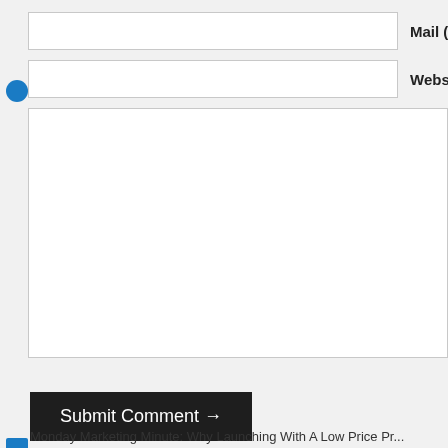[Figure (screenshot): Web comment form with Mail input field, Website input field, large comment textarea, and Submit Comment button. Social sharing sidebar buttons visible on left edge.]
Mail (wil
Website
Submit Comment →
Monday Marketing Minute: Why Launching With A Low Price Pr...